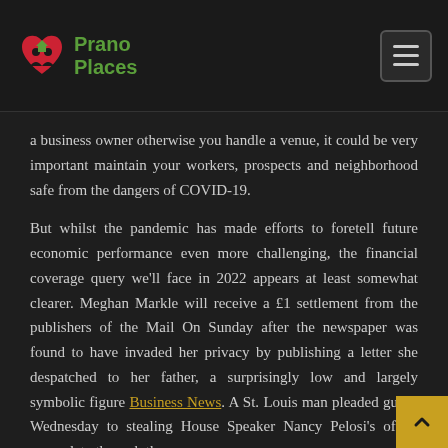Prano Places
a business owner otherwise you handle a venue, it could be very important maintain your workers, prospects and neighborhood safe from the dangers of COVID-19.
But whilst the pandemic has made efforts to foretell future economic performance even more challenging, the financial coverage query we'll face in 2022 appears at least somewhat clearer. Meghan Markle will receive a £1 settlement from the publishers of the Mail On Sunday after the newspaper was found to have invaded her privacy by publishing a letter she despatched to her father, a surprisingly low and largely symbolic figure Business News. A St. Louis man pleaded guilty Wednesday to stealing House Speaker Nancy Pelosi's office nameplate through the